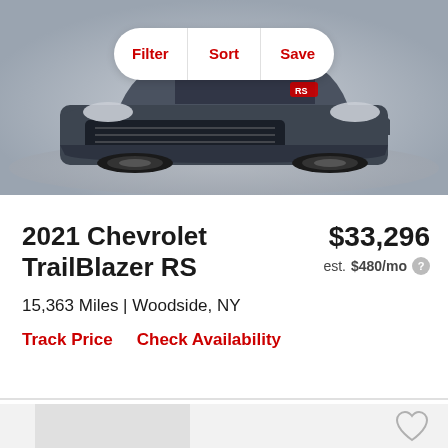[Figure (photo): Front view of a 2021 Chevrolet TrailBlazer RS in dark gray/slate color, displayed on a circular platform against a light gray background. A Filter/Sort/Save navigation bar overlays the top of the image.]
2021 Chevrolet TrailBlazer RS
$33,296
est. $480/mo
15,363 Miles | Woodside, NY
Track Price   Check Availability
[Figure (photo): Partially visible bottom listing card with a light gray placeholder image area and a heart/save icon in the upper right corner.]